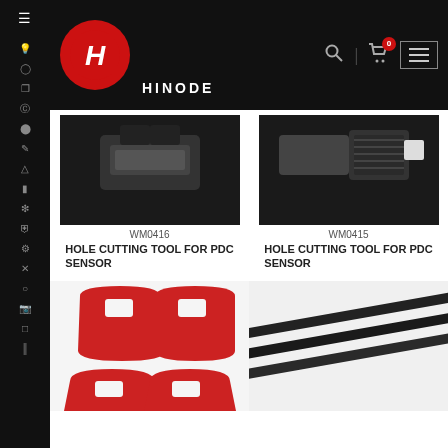HINODE — website header with logo, search, cart (0), and menu
[Figure (photo): Hole cutting tool for PDC sensor, black — product WM0416]
WM0416
HOLE CUTTING TOOL FOR PDC SENSOR
[Figure (photo): Hole cutting tool for PDC sensor — product WM0415]
WM0415
HOLE CUTTING TOOL FOR PDC SENSOR
[Figure (photo): Red plastic tool — partially visible product at bottom left]
[Figure (photo): Black pry bar set — partially visible product at bottom right]